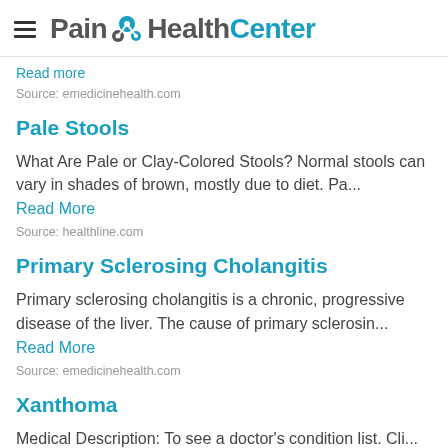Pain HealthCenter
Read more
Source: emedicinehealth.com
Pale Stools
What Are Pale or Clay-Colored Stools? Normal stools can vary in shades of brown, mostly due to diet. Pa...
Read More
Source: healthline.com
Primary Sclerosing Cholangitis
Primary sclerosing cholangitis is a chronic, progressive disease of the liver. The cause of primary sclerosin...
Read More
Source: emedicinehealth.com
Xanthoma
Medical Description: To see a doctor's condition list. Cli...